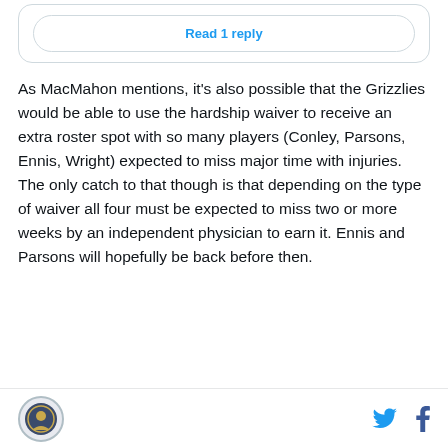Read 1 reply
As MacMahon mentions, it's also possible that the Grizzlies would be able to use the hardship waiver to receive an extra roster spot with so many players (Conley, Parsons, Ennis, Wright) expected to miss major time with injuries. The only catch to that though is that depending on the type of waiver all four must be expected to miss two or more weeks by an independent physician to earn it. Ennis and Parsons will hopefully be back before then.
Logo and social share icons